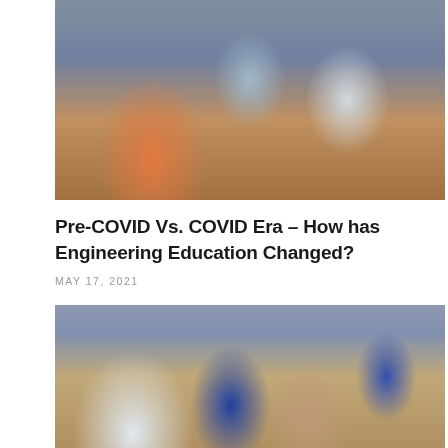[Figure (photo): Students in a classroom wearing face masks, writing at desks. A woman in a red top is in the foreground, other masked students visible in the background.]
Pre-COVID Vs. COVID Era – How has Engineering Education Changed?
MAY 17, 2021
[Figure (photo): Group of professionals or students sitting on stairs in a modern building, reviewing documents together. Additional people visible standing in the background.]